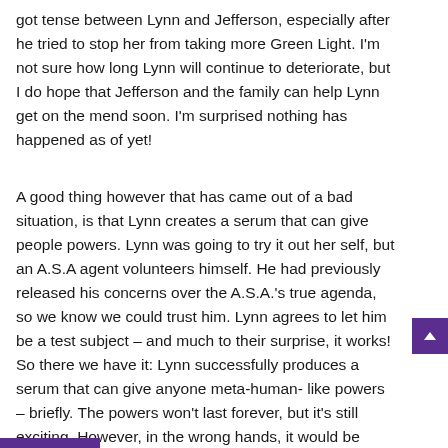got tense between Lynn and Jefferson, especially after he tried to stop her from taking more Green Light. I'm not sure how long Lynn will continue to deteriorate, but I do hope that Jefferson and the family can help Lynn get on the mend soon. I'm surprised nothing has happened as of yet!
A good thing however that has came out of a bad situation, is that Lynn creates a serum that can give people powers. Lynn was going to try it out her self, but an A.S.A agent volunteers himself. He had previously released his concerns over the A.S.A.'s true agenda, so we know we could trust him. Lynn agrees to let him be a test subject – and much to their surprise, it works! So there we have it: Lynn successfully produces a serum that can give anyone meta-human- like powers – briefly. The powers won't last forever, but it's still exciting. However, in the wrong hands, it would be disastrous!